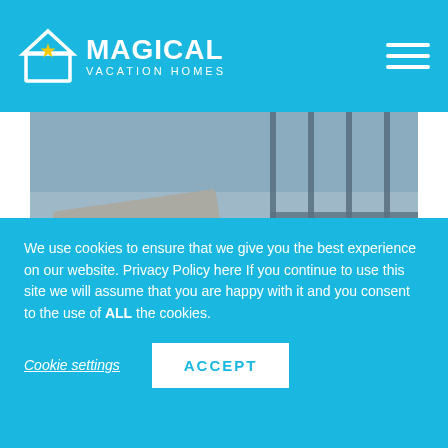MAGICAL VACATION HOMES
[Figure (photo): Pool lounge chairs with cushions on a deck, railing and interior visible in background]
ALL OUR VACATION RENTALS
Creating Magical Experiences for Family Vacations in Orlando, Florida.
We use cookies to ensure that we give you the best experience on our website. Privacy Policy here If you continue to use this site we will assume that you are happy with it and you consent to the use of ALL the cookies.
Cookie settings   ACCEPT